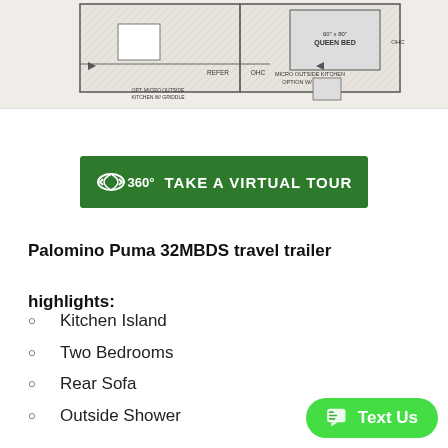[Figure (schematic): Partial RV floor plan schematic for Palomino Puma 32MBDS travel trailer showing bedroom with queen bed, kitchen area with refer, OHC, and outside kitchen options.]
[Figure (other): Green '360° TAKE A VIRTUAL TOUR' button]
Palomino Puma 32MBDS travel trailer highlights:
Kitchen Island
Two Bedrooms
Rear Sofa
Outside Shower
[Figure (other): Green 'Text Us' chat button in bottom right corner]